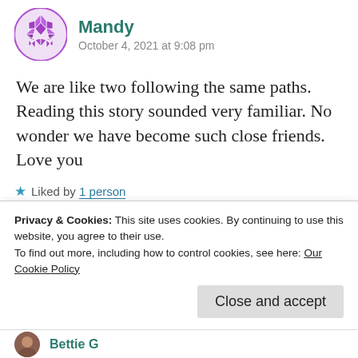[Figure (illustration): Purple geometric/quilted circular avatar for user Mandy]
Mandy
October 4, 2021 at 9:08 pm
We are like two following the same paths. Reading this story sounded very familiar. No wonder we have become such close friends.
Love you
★ Liked by 1 person
Privacy & Cookies: This site uses cookies. By continuing to use this website, you agree to their use.
To find out more, including how to control cookies, see here: Our Cookie Policy
Close and accept
Bettie G